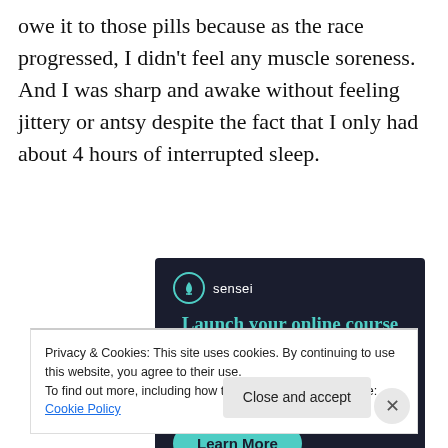owe it to those pills because as the race progressed, I didn't feel any muscle soreness. And I was sharp and awake without feeling jittery or antsy despite the fact that I only had about 4 hours of interrupted sleep.
[Figure (infographic): Sensei advertisement banner with dark background. Shows sensei logo (tree icon in circle), headline 'Launch your online course with WordPress', and a teal 'Learn More' button.]
Privacy & Cookies: This site uses cookies. By continuing to use this website, you agree to their use.
To find out more, including how to control cookies, see here: Cookie Policy